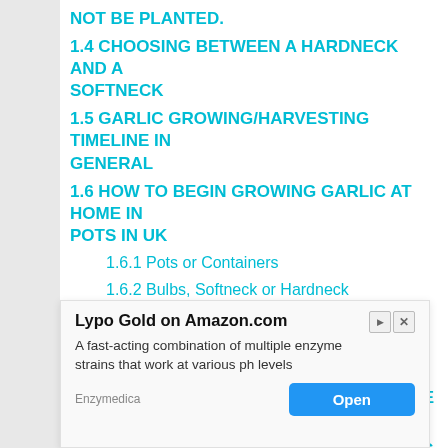NOT BE PLANTED.
1.4 CHOOSING BETWEEN A HARDNECK AND A SOFTNECK
1.5 GARLIC GROWING/HARVESTING TIMELINE IN GENERAL
1.6 HOW TO BEGIN GROWING GARLIC AT HOME IN POTS IN UK
1.6.1 Pots or Containers
1.6.2 Bulbs, Softneck or Hardneck
1.6.3 Compost
1.6.4 Hand Fork
1.7 GROWING GARLIC FROM BULBS
1.8 ... THE G...
1.9 ... IG ... UK
[Figure (screenshot): Advertisement overlay for 'Lypo Gold on Amazon.com' by Enzymedica. Text: 'A fast-acting combination of multiple enzyme strains that work at various ph levels'. Has an Open button and close icons.]